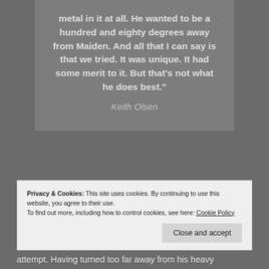metal in it at all. He wanted to be a hundred and eighty degrees away from Maiden. And all that I can say is that we tried. It was unique. It had some merit to it. But that's not what he does best."
Keith Olsen
[Figure (infographic): Advertisement banner with light blue background showing journaling app icons and text 'The only journaling app you'll ever need.']
Privacy & Cookies: This site uses cookies. By continuing to use this website, you agree to their use.
To find out more, including how to control cookies, see here: Cookie Policy
Close and accept
attempt. Having turned too far away from his heavy